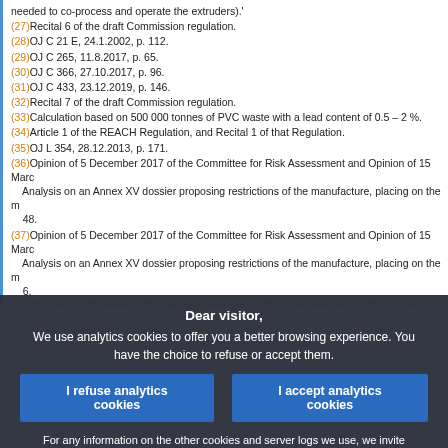(27) Recital 6 of the draft Commission regulation.
(28) OJ C 21 E, 24.1.2002, p. 112.
(29) OJ C 265, 11.8.2017, p. 65.
(30) OJ C 366, 27.10.2017, p. 96.
(31) OJ C 433, 23.12.2019, p. 146.
(32) Recital 7 of the draft Commission regulation.
(33) Calculation based on 500 000 tonnes of PVC waste with a lead content of 0.5 – 2 %.
(34) Article 1 of the REACH Regulation, and Recital 1 of that Regulation.
(35) OJ L 354, 28.12.2013, p. 171.
(36) Opinion of 5 December 2017 of the Committee for Risk Assessment and Opinion of 15 March... Analysis on an Annex XV dossier proposing restrictions of the manufacture, placing on the market... 48.
(37) Opinion of 5 December 2017 of the Committee for Risk Assessment and Opinion of 15 March... Analysis on an Annex XV dossier proposing restrictions of the manufacture, placing on the market... 6.
(38) Opinion of 5 December 2017 of the Committee for Risk Assessment and Opinion of 15 March... Analysis on an Annex XV dossier proposing restrictions of the manufacture, placing on the market... 9: 'RAC notes that it is possible for lead to be present in PVC due to uses other than as stabilisers... pigments have been granted a REACH authorisation). Restriction of any lead present in PVC would contribute to addressing the risks identified in the proposal. In addition, it might not be readily readable, so specifying a particular use might not be helpful from an enforcement perspective (the Forum notes that the restriction will be simpler to enforce if enforcement authorities do not have to demonstrate... PVC above the relevant concentration limit)'
Dear visitor, We use analytics cookies to offer you a better browsing experience. You have the choice to refuse or accept them.
I refuse analytics cookies | I accept analytics cookies
For any information on the other cookies and server logs we use, we invite you to read our data protection policy , our cookies policy and our cookies inventory.